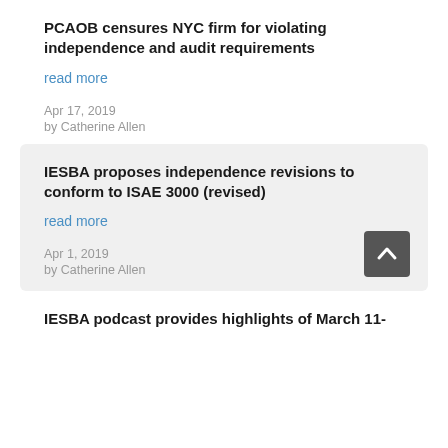PCAOB censures NYC firm for violating independence and audit requirements
read more
Apr 17, 2019
by Catherine Allen
IESBA proposes independence revisions to conform to ISAE 3000 (revised)
read more
Apr 1, 2019
by Catherine Allen
IESBA podcast provides highlights of March 11-